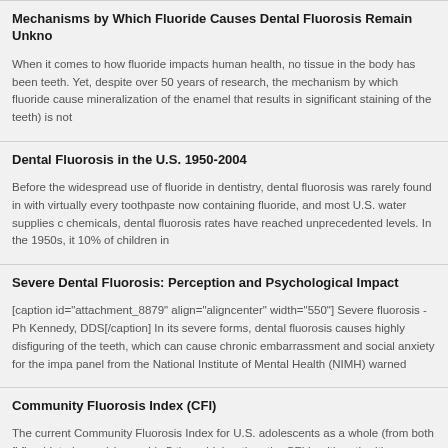Mechanisms by Which Fluoride Causes Dental Fluorosis Remain Unknown
When it comes to how fluoride impacts human health, no tissue in the body has been teeth. Yet, despite over 50 years of research, the mechanism by which fluoride cause mineralization of the enamel that results in significant staining of the teeth) is not
Dental Fluorosis in the U.S. 1950-2004
Before the widespread use of fluoride in dentistry, dental fluorosis was rarely found in with virtually every toothpaste now containing fluoride, and most U.S. water supplies c chemicals, dental fluorosis rates have reached unprecedented levels. In the 1950s, it 10% of children in
Severe Dental Fluorosis: Perception and Psychological Impact
[caption id="attachment_8879" align="aligncenter" width="550"] Severe fluorosis - Ph Kennedy, DDS[/caption] In its severe forms, dental fluorosis causes highly disfiguring of the teeth, which can cause chronic embarrassment and social anxiety for the impa panel from the National Institute of Mental Health (NIMH) warned
Community Fluorosis Index (CFI)
The current Community Fluorosis Index for U.S. adolescents as a whole (from both fl fluoridated areas) is roughly 5 times higher than the CFI health authorities predicted f fluoridation first began. It is also higher than the CFI that the NIDR found in fluorida